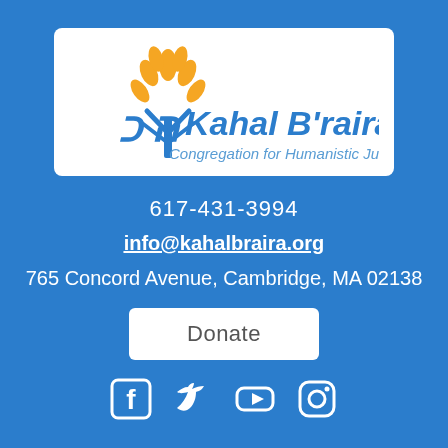[Figure (logo): Kahal B'raira - Congregation for Humanistic Judaism logo with wheat/tree graphic in gold and blue]
617-431-3994
info@kahalbraira.org
765 Concord Avenue, Cambridge, MA 02138
Donate
[Figure (infographic): Social media icons row: Facebook, Twitter, YouTube, Instagram]